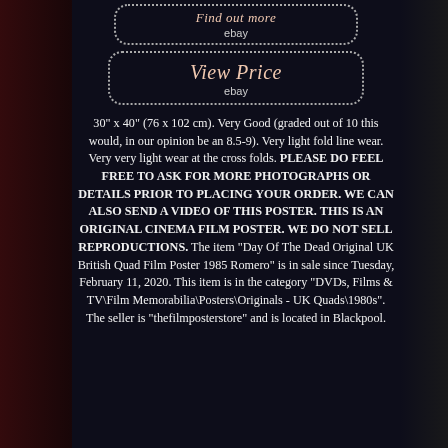[Figure (screenshot): eBay button (top, partially visible) with dotted border and italic text, with 'ebay' label below]
[Figure (screenshot): eBay 'View Price' button with dotted rounded border, italic salmon-colored text, and 'ebay' label below]
30" x 40" (76 x 102 cm). Very Good (graded out of 10 this would, in our opinion be an 8.5-9). Very light fold line wear. Very very light wear at the cross folds. PLEASE DO FEEL FREE TO ASK FOR MORE PHOTOGRAPHS OR DETAILS PRIOR TO PLACING YOUR ORDER. WE CAN ALSO SEND A VIDEO OF THIS POSTER. THIS IS AN ORIGINAL CINEMA FILM POSTER. WE DO NOT SELL REPRODUCTIONS. The item "Day Of The Dead Original UK British Quad Film Poster 1985 Romero" is in sale since Tuesday, February 11, 2020. This item is in the category "DVDs, Films & TV\Film Memorabilia\Posters\Originals - UK Quads\1980s". The seller is "thefilmposterstore" and is located in Blackpool. This item can be shipped to United Kingdom.